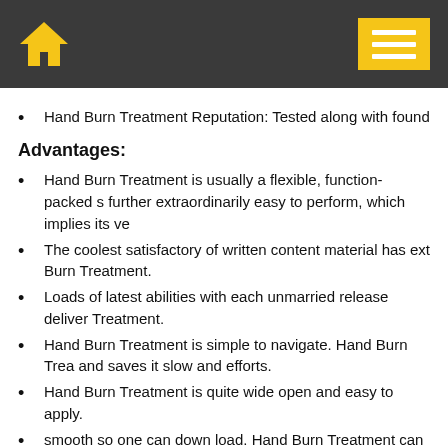Home | Menu
Hand Burn Treatment Reputation: Tested along with found
Advantages:
Hand Burn Treatment is usually a flexible, function-packed s further extraordinarily easy to perform, which implies its ve
The coolest satisfactory of written content material has ext Burn Treatment.
Loads of latest abilities with each unmarried release deliver Treatment.
Hand Burn Treatment is simple to navigate. Hand Burn Trea and saves it slow and efforts.
Hand Burn Treatment is quite wide open and easy to apply.
smooth so one can down load. Hand Burn Treatment can b
Disadvantages: